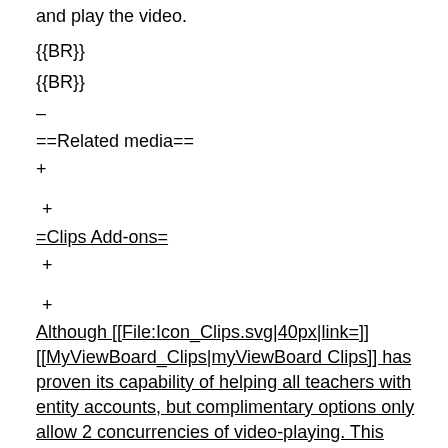and play the video.
{{BR}}
{{BR}}
–
==Related media==
+

 +
=Clips Add-ons=
 +

 +
Although [[File:Icon_Clips.svg|40px|link=]] [[MyViewBoard_Clips|myViewBoard Clips]] has proven its capability of helping all teachers with entity accounts, but complimentary options only allow 2 concurrencies of video-playing. This means only 2 teachers can play the Clips videos at the same time. Therefore, we suggest